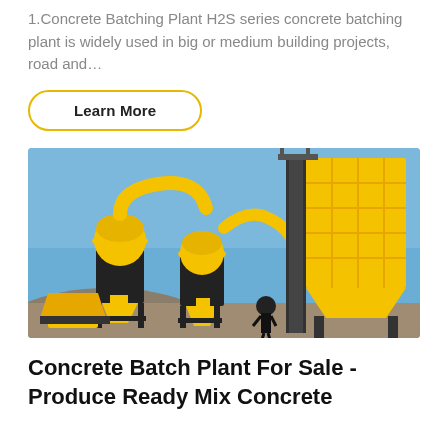1.Concrete Batching Plant H2S series concrete batching plant is widely used in big or medium building projects, road and…
Learn More
[Figure (photo): Yellow concrete batching plant machinery with silos, cyclones, and conveyor pipes, set against a blue sky with rocky hills in the background. A worker in dark clothing is visible near the base.]
Concrete Batch Plant For Sale - Produce Ready Mix Concrete